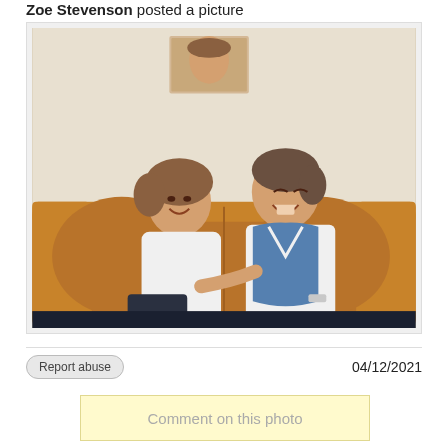Zoe Stevenson posted a picture
[Figure (photo): Vintage photograph of two people (a woman and a man) sitting on a brown leather sofa, both smiling and laughing. A framed picture hangs on the wall behind them. The woman wears a white blouse, the man wears a blue vest over a white shirt and has a watch on his wrist.]
Report abuse
04/12/2021
Comment on this photo